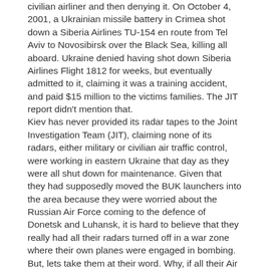civilian airliner and then denying it. On October 4, 2001, a Ukrainian missile battery in Crimea shot down a Siberia Airlines TU-154 en route from Tel Aviv to Novosibirsk over the Black Sea, killing all aboard. Ukraine denied having shot down Siberia Airlines Flight 1812 for weeks, but eventually admitted to it, claiming it was a training accident, and paid $15 million to the victims families. The JIT report didn't mention that.
Kiev has never provided its radar tapes to the Joint Investigation Team (JIT), claiming none of its radars, either military or civilian air traffic control, were working in eastern Ukraine that day as they were all shut down for maintenance. Given that they had supposedly moved the BUK launchers into the area because they were worried about the Russian Air Force coming to the defence of Donetsk and Luhansk, it is hard to believe that they really had all their radars turned off in a war zone where their own planes were engaged in bombing. But, lets take them at their word. Why, if all their Air Traffic Control radars were turned off, making it impossible for their air traffic controllers to track the planes they were supposed to be guiding, would they re-route Flight MH17 into that area? The JIT didn't ask that question.
Although the Ukrainian radars, both military and civilian, were supposedly all turned off for maintenance at the same time, the